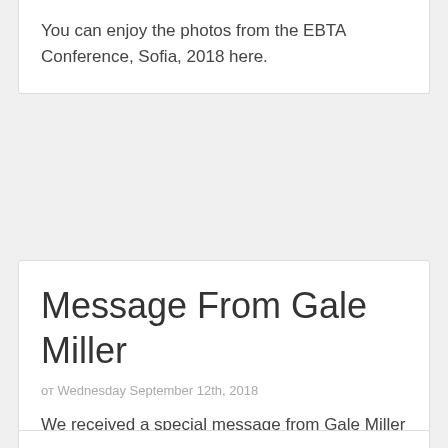You can enjoy the photos from the EBTA Conference, Sofia, 2018 here.
Message From Gale Miller
от Wednesday September 12th, 2018
We received a special message from Gale Miller to all participants in the EBTA Conference, Sofia 2018. You can find it here.